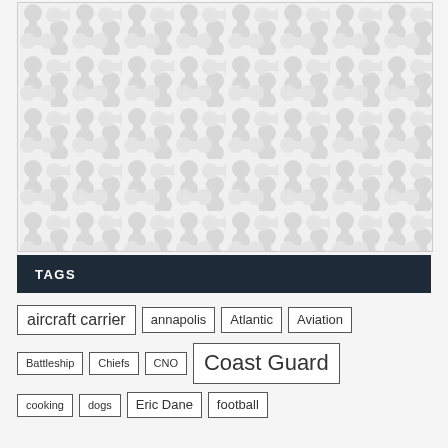[Figure (illustration): A decorative repeating pattern image with interlocking rounded dumbbell/bowtie shapes in light gray on a white/light gray background.]
TAGS
aircraft carrier
annapolis
Atlantic
Aviation
Battleship
Chiefs
CNO
Coast Guard
cooking
dogs
Eric Dane
football